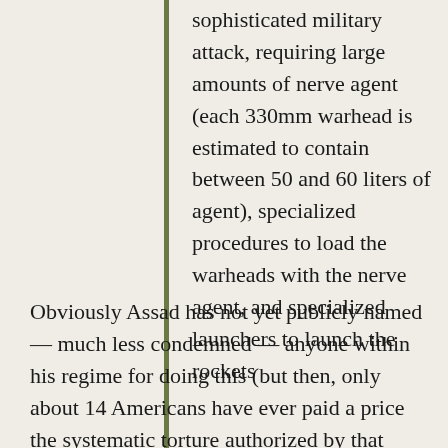sophisticated military attack, requiring large amounts of nerve agent (each 330mm warhead is estimated to contain between 50 and 60 liters of agent), specialized procedures to load the warheads with the nerve agent, and specialized launchers to launch the rockets
Obviously Assad has not yet publicly named — much less condemned — anyone within his regime for doing this (but then, only about 14 Americans have ever paid a price the systematic torture authorized by that Bush signature). If this deal with the Russians actually happens, naming and prosecuting the persons responsible for the August 21 attack should